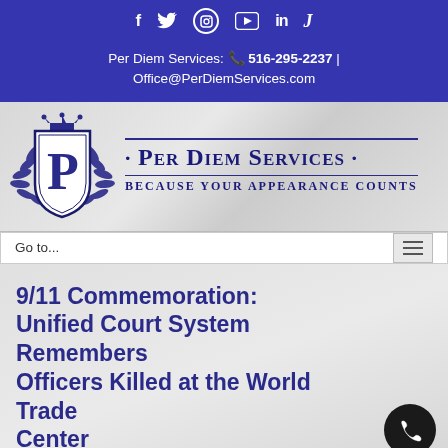f  [twitter]  [instagram]  [youtube]  in  J
Per Diem Services: 516-295-2237 | Office@PerDiemServices.com
[Figure (logo): Per Diem Services logo with crest/shield featuring letter P with crown and floral ornaments, beside text 'Per Diem Services · Because Your Appearance Counts']
Go to...
9/11 Commemoration: Unified Court System Remembers Officers Killed at the World Trade Center